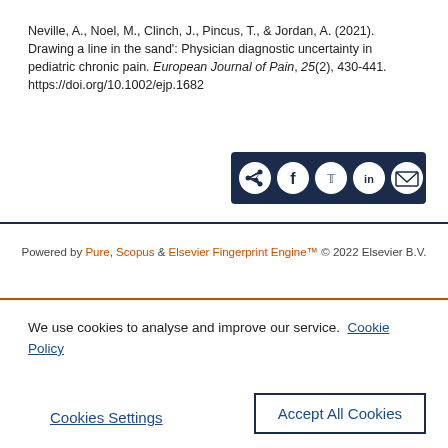Neville, A., Noel, M., Clinch, J., Pincus, T., & Jordan, A. (2021). Drawing a line in the sand': Physician diagnostic uncertainty in pediatric chronic pain. European Journal of Pain, 25(2), 430-441. https://doi.org/10.1002/ejp.1682
[Figure (other): Share button group with icons for share, Facebook, Twitter, LinkedIn, and email on a dark navy background]
Powered by Pure, Scopus & Elsevier Fingerprint Engine™ © 2022 Elsevier B.V.
We use cookies to analyse and improve our service. Cookie Policy
Cookies Settings
Accept All Cookies